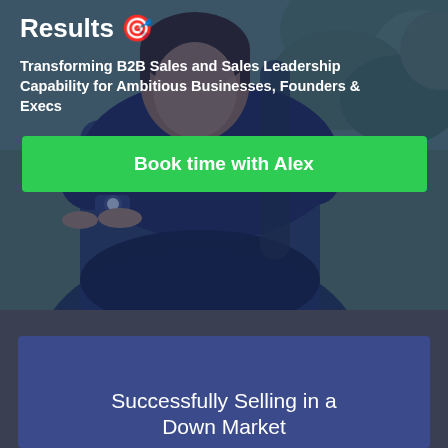[Figure (photo): Hero section with a person (man with watch, wearing dark clothing) sitting in a chair against a leafy green outdoor background, with a dark blue overlay tint. Contains headline text, subtitle text, and a green CTA button.]
Results 🎯
Transforming B2B Sales and Sales Leadership Capability for Ambitious Businesses, Founders & Execs
Book time with Alex
[Figure (illustration): Dark blue-tinted card panel with text 'Successfully Selling in a Down Market']
Successfully Selling in a Down Market